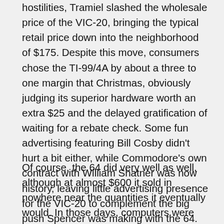hostilities, Tramiel slashed the wholesale price of the VIC-20, bringing the typical retail price down into the neighborhood of $175. Despite this move, consumers chose the TI-99/4A by about a three to one margin that Christmas, obviously judging its superior hardware worth an extra $25 and the delayed gratification of waiting for a rebate check. Some fun advertising featuring Bill Cosby didn't hurt a bit either, while Commodore's own contract with William Shatner was now history, leaving little advertising presence for the VIC-20 to complement the big push Spencer was making with the 64. TI sold more than half a million computers in just a few months. Round One: TI.
Of course, the 64 did very well as well, although at almost $600 it sold in nowhere near the quantities it eventually would. In those days, computers were sold through two channels. One was the network of dedicated dealers who